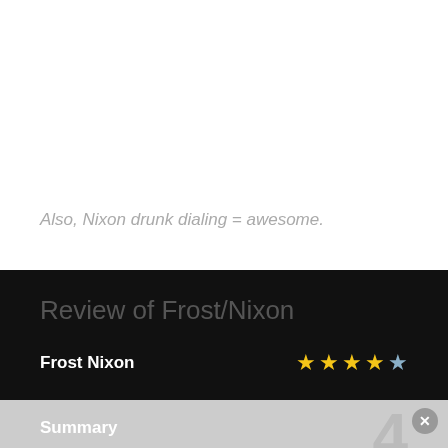Also, Nixon drunk dialing = awesome.
Review of Frost/Nixon
Frost Nixon
Summary
4
Making a movie about an interview sounds as exciting as well, watching